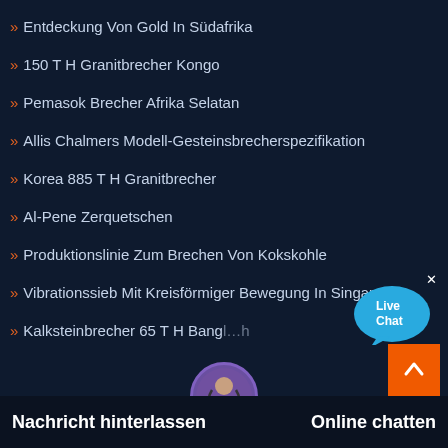Entdeckung Von Gold In Südafrika
150 T H Granitbrecher Kongo
Pemasok Brecher Afrika Selatan
Allis Chalmers Modell-Gesteinsbrecherspezifikation
Korea 885 T H Granitbrecher
Al-Pene Zerquetschen
Produktionslinie Zum Brechen Von Kokskohle
Vibrationssieb Mit Kreisförmiger Bewegung In Singapur
Kalksteinbrecher 65 T H Bangladesh
Nachricht hinterlassen    Online chatten